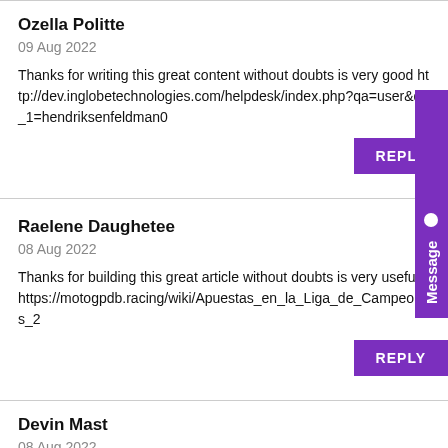Ozella Politte
09 Aug 2022
Thanks for writing this great content without doubts is very good http://dev.inglobetechnologies.com/helpdesk/index.php?qa=user&qa_1=hendriksenfeldman0
Raelene Daughetee
08 Aug 2022
Thanks for building this great article without doubts is very useful https://motogpdb.racing/wiki/Apuestas_en_la_Liga_de_Campeones_2
Devin Mast
08 Aug 2022